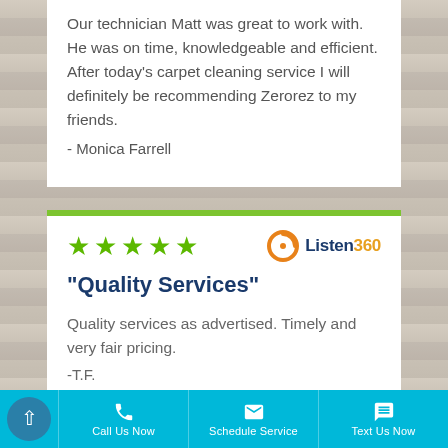Our technician Matt was great to work with. He was on time, knowledgeable and efficient. After today's carpet cleaning service I will definitely be recommending Zerorez to my friends.
- Monica Farrell
[Figure (other): Five green star rating icons and Listen360 logo]
"Quality Services"
Quality services as advertised. Timely and very fair pricing.
-T.F.
Call Us Now | Schedule Service | Text Us Now